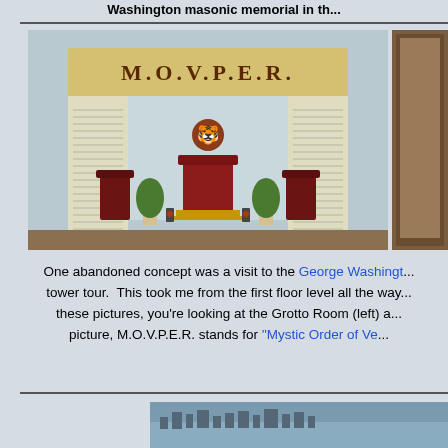Washington masonic memorial in th...
[Figure (photo): Interior room display showing M.O.V.P.E.R. sign above a ceremonial setup with a red throne chair in the center, two decorative chairs on sides, potted plants, and walls covered in text inscriptions. A tiger/animal head emblem is mounted on the back wall.]
[Figure (photo): Partial view of a wooden interior, possibly a door or wall panel.]
One abandoned concept was a visit to the George Washingt... tower tour.  This took me from the first floor level all the way... these pictures, you're looking at the Grotto Room (left) a... picture, M.O.V.P.E.R. stands for "Mystic Order of Ve...
[Figure (photo): Aerial or elevated view of a cityscape or landscape, partially visible at bottom of page.]